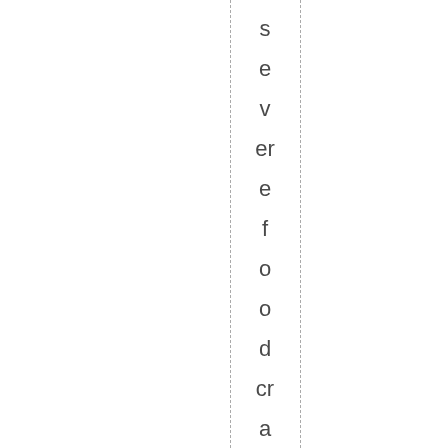s e v er e f o o d cr a vi n g s l e x